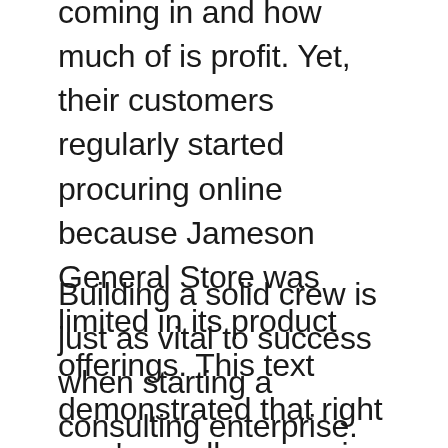coming in and how much of is profit. Yet, their customers regularly started procuring online because Jameson General Store was limited in its product offerings. This text demonstrated that right now's small companies can make the most of digital advertising to enhance their market opportunities.
Building a solid crew is just as vital to success when starting a consulting enterprise. Beyond expertise gimmicks, businesses should know